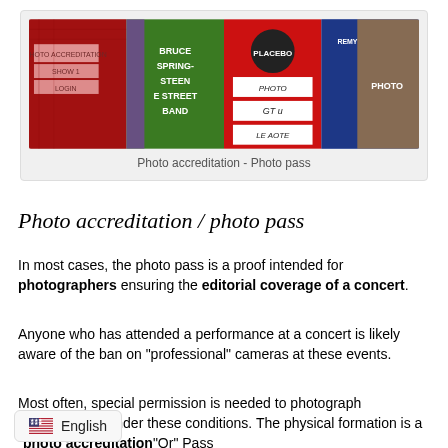[Figure (photo): A horizontal strip of photo pass / accreditation badges from various concerts including Springsteen E Street Band and Placebo, showing colorful laminated passes with 'PHOTO' markings.]
Photo accreditation - Photo pass
Photo accreditation / photo pass
In most cases, the photo pass is a proof intended for photographers ensuring the editorial coverage of a concert.
Anyone who has attended a performance at a concert is likely aware of the ban on "professional" cameras at these events.
Most often, special permission is needed to photograph performances under these conditions. The physical form ation is a "photo accreditation"Or" Pass